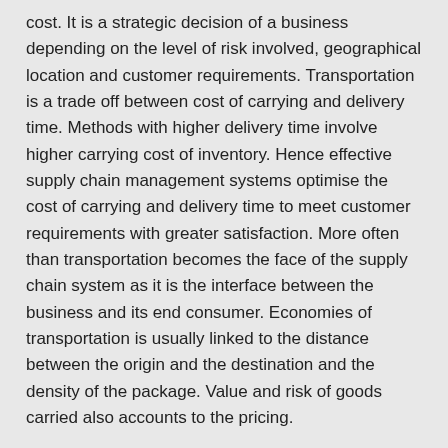cost. It is a strategic decision of a business depending on the level of risk involved, geographical location and customer requirements. Transportation is a trade off between cost of carrying and delivery time. Methods with higher delivery time involve higher carrying cost of inventory. Hence effective supply chain management systems optimise the cost of carrying and delivery time to meet customer requirements with greater satisfaction. More often than transportation becomes the face of the supply chain system as it is the interface between the business and its end consumer. Economies of transportation is usually linked to the distance between the origin and the destination and the density of the package. Value and risk of goods carried also accounts to the pricing.
Supply chain management is a function that integrates different components of a business. Main characteristics of Supply chain management are:
Network of functions